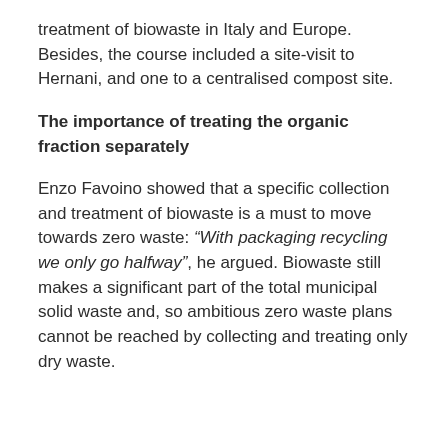treatment of biowaste in Italy and Europe. Besides, the course included a site-visit to Hernani, and one to a centralised compost site.
The importance of treating the organic fraction separately
Enzo Favoino showed that a specific collection and treatment of biowaste is a must to move towards zero waste: “With packaging recycling we only go halfway”, he argued. Biowaste still makes a significant part of the total municipal solid waste and, so ambitious zero waste plans cannot be reached by collecting and treating only dry waste.